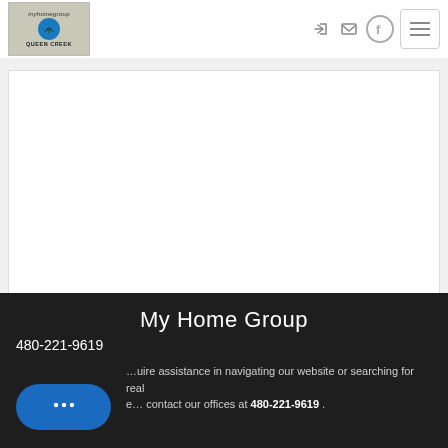[Figure (logo): My Home Group Queen Creek logo with tree icon on wood-grain background]
[Figure (screenshot): Navigation icons: login arrow, email envelope, Facebook circle, and hamburger menu button]
[Figure (screenshot): White content area / map embed placeholder]
My Home Group
480-221-9619
...uire assistance in navigating our website or searching for real e... contact our offices at 480-221-9619 .
[Figure (screenshot): Blue chat bubble button with three dots icon]